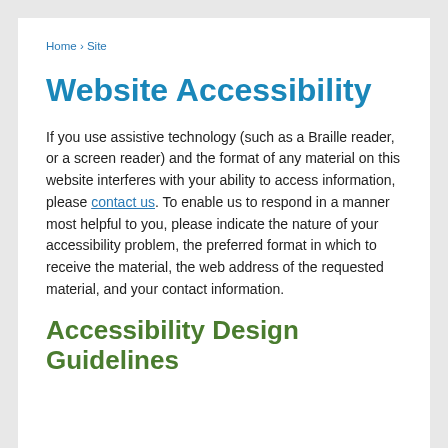Home › Site
Website Accessibility
If you use assistive technology (such as a Braille reader, or a screen reader) and the format of any material on this website interferes with your ability to access information, please contact us. To enable us to respond in a manner most helpful to you, please indicate the nature of your accessibility problem, the preferred format in which to receive the material, the web address of the requested material, and your contact information.
Accessibility Design Guidelines